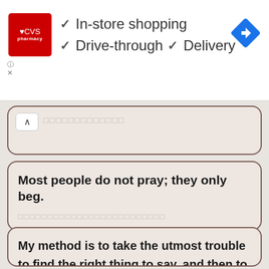[Figure (screenshot): CVS Pharmacy advertisement banner showing logo and service options: In-store shopping, Drive-through, Delivery with checkmarks, and a navigation arrow icon]
□□□□□□□□□□□□□ (Thai script placeholder, partially visible)
Most people do not pray; they only beg.
□□□□□□□□□□□□□□□□□□□□□□□□□ (Thai script)
My method is to take the utmost trouble to find the right thing to say, and then to say it with the utmost levity.